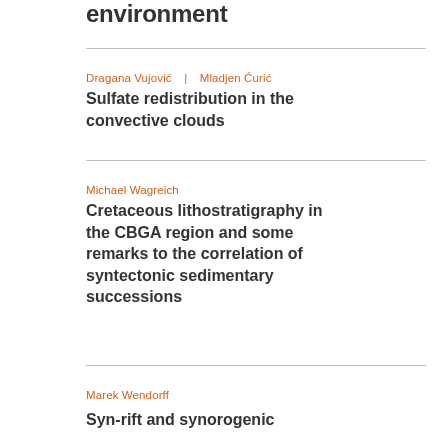environment
Dragana Vujović | Mladjen Ćurić
Sulfate redistribution in the convective clouds
Michael Wagreich
Cretaceous lithostratigraphy in the CBGA region and some remarks to the correlation of syntectonic sedimentary successions
Marek Wendorff
Syn-rift and synorogenic